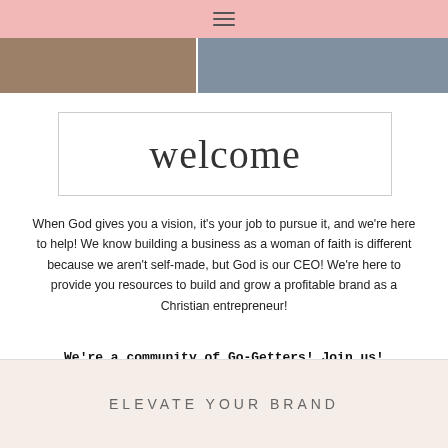Navigation menu icon
[Figure (photo): Photo strip with two images side by side]
[Figure (illustration): Welcome script text in a bordered box]
When God gives you a vision, it's your job to pursue it, and we're here to help! We know building a business as a woman of faith is different because we aren't self-made, but God is our CEO! We're here to provide you resources to build and grow a profitable brand as a Christian entrepreneur!
We're a community of Go-Getters! Join us!
ELEVATE YOUR BRAND